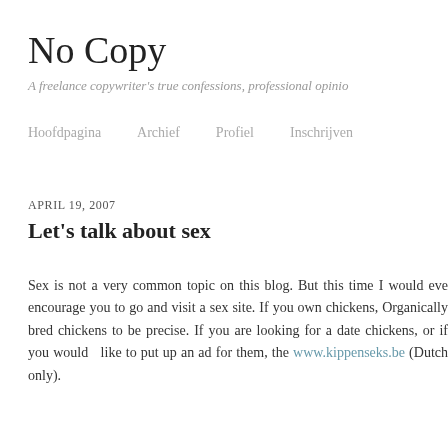No Copy
A freelance copywriter's true confessions, professional opinio
Hoofdpagina   Archief   Profiel   Inschrijven
APRIL 19, 2007
Let's talk about sex
Sex is not a very common topic on this blog. But this time I would eve encourage you to go and visit a sex site. If you own chickens, Organically bred chickens to be precise. If you are looking for a date chickens, or if you would  like to put up an ad for them, the www.kippenseks.be (Dutch only).